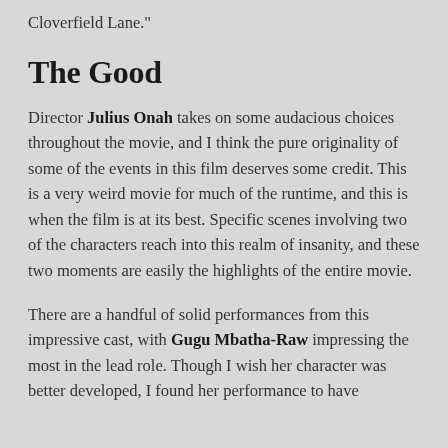Cloverfield Lane."
The Good
Director Julius Onah takes on some audacious choices throughout the movie, and I think the pure originality of some of the events in this film deserves some credit. This is a very weird movie for much of the runtime, and this is when the film is at its best. Specific scenes involving two of the characters reach into this realm of insanity, and these two moments are easily the highlights of the entire movie.
There are a handful of solid performances from this impressive cast, with Gugu Mbatha-Raw impressing the most in the lead role. Though I wish her character was better developed, I found her performance to have